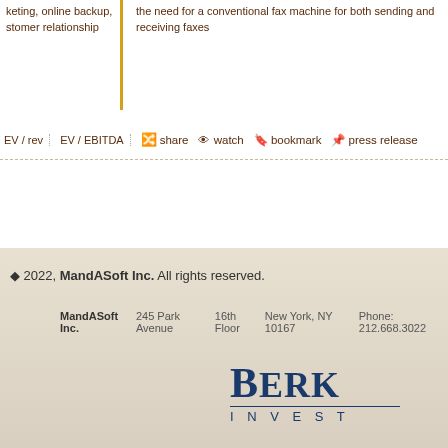keting, online backup, stomer relationship
the need for a conventional fax machine for both sending and receiving faxes
EV / rev  EV / EBITDA  share  watch  bookmark  press release
© 2022, MandASoft Inc. All rights reserved.
MandASoft Inc.  245 Park Avenue  16th Floor  New York, NY 10167  Phone: 212.668.3022
[Figure (logo): Berkshire Investments logo — large serif 'BERK' text in navy blue with 'INVEST' in spaced caps below a horizontal rule]